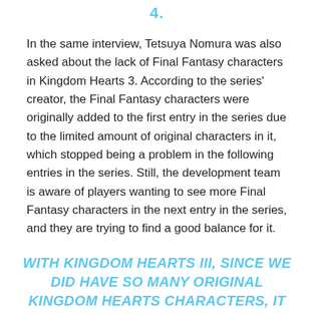4.
In the same interview, Tetsuya Nomura was also asked about the lack of Final Fantasy characters in Kingdom Hearts 3. According to the series' creator, the Final Fantasy characters were originally added to the first entry in the series due to the limited amount of original characters in it, which stopped being a problem in the following entries in the series. Still, the development team is aware of players wanting to see more Final Fantasy characters in the next entry in the series, and they are trying to find a good balance for it.
WITH KINGDOM HEARTS III, SINCE WE DID HAVE SO MANY ORIGINAL KINGDOM HEARTS CHARACTERS, IT WAS HARD TO FIND ROOM FOR INCLUDING MORE FINAL FANTASY CHARACTERS. WE'RE